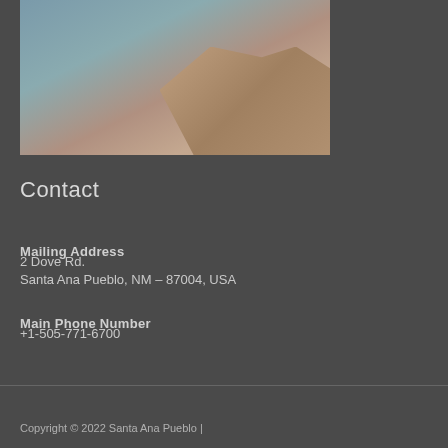[Figure (photo): Photograph showing water body (river or lake) with sandy/rocky cliffs or eroded bank in the background]
Contact
Mailing Address
2 Dove Rd.
Santa Ana Pueblo, NM – 87004, USA
Main Phone Number
+1-505-771-6700
Copyright © 2022 Santa Ana Pueblo |